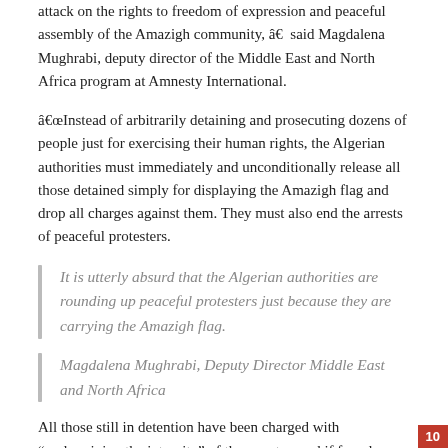attack on the rights to freedom of expression and peaceful assembly of the Amazigh community, â€ said Magdalena Mughrabi, deputy director of the Middle East and North Africa program at Amnesty International.
â€œInstead of arbitrarily detaining and prosecuting dozens of people just for exercising their human rights, the Algerian authorities must immediately and unconditionally release all those detained simply for displaying the Amazigh flag and drop all charges against them. They must also end the arrests of peaceful protesters.
It is utterly absurd that the Algerian authorities are rounding up peaceful protesters just because they are carrying the Amazigh flag.
Magdalena Mughrabi, Deputy Director Middle East and North Africa
All those still in detention have been charged with “undermining the integrity” of the country, and if found guilty they could face up to